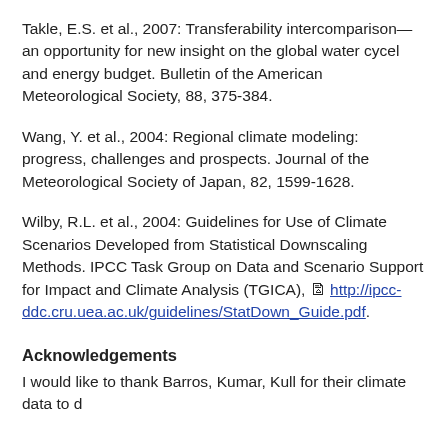Takle, E.S. et al., 2007: Transferability intercomparison—an opportunity for new insight on the global water cycel and energy budget. Bulletin of the American Meteorological Society, 88, 375-384.
Wang, Y. et al., 2004: Regional climate modeling: progress, challenges and prospects. Journal of the Meteorological Society of Japan, 82, 1599-1628.
Wilby, R.L. et al., 2004: Guidelines for Use of Climate Scenarios Developed from Statistical Downscaling Methods. IPCC Task Group on Data and Scenario Support for Impact and Climate Analysis (TGICA), http://ipcc-ddc.cru.uea.ac.uk/guidelines/StatDown_Guide.pdf.
Acknowledgements
I would like to thank Barros, Kumar, Kull for their climate data...